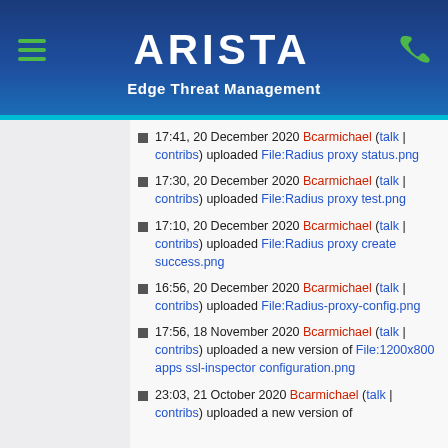ARISTA Edge Threat Management
17:41, 20 December 2020 Bcarmichael (talk | contribs) uploaded File:Radius proxy status.png
17:30, 20 December 2020 Bcarmichael (talk | contribs) uploaded File:Radius proxy test.png
17:10, 20 December 2020 Bcarmichael (talk | contribs) uploaded File:Radius proxy create success.png
16:56, 20 December 2020 Bcarmichael (talk | contribs) uploaded File:Radius-proxy-config.png
17:56, 18 November 2020 Bcarmichael (talk | contribs) uploaded a new version of File:1200x800 apps ssl-inspector configuration.png
23:03, 21 October 2020 Bcarmichael (talk | contribs) uploaded a new version of